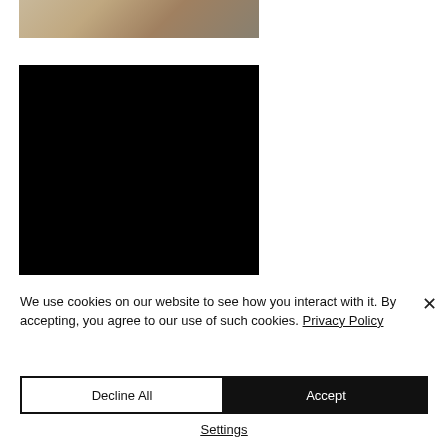[Figure (photo): Partial view of a person on a sofa with yellow and pink cushions, cropped at top]
[Figure (other): Black video player rectangle]
We use cookies on our website to see how you interact with it. By accepting, you agree to our use of such cookies. Privacy Policy
Decline All
Accept
Settings